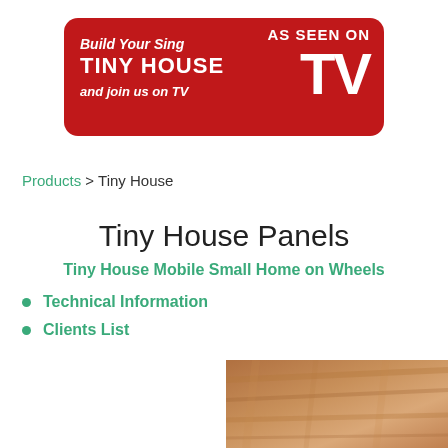[Figure (illustration): Red rounded rectangle banner with white text: 'Build Your Sing TINY HOUSE and join us on TV' on the left, and 'AS SEEN ON TV' in large white text on the right]
Products > Tiny House
Tiny House Panels
Tiny House Mobile Small Home on Wheels
Technical Information
Clients List
[Figure (photo): Partial photo of wooden panel surface, cropped at bottom right of page]